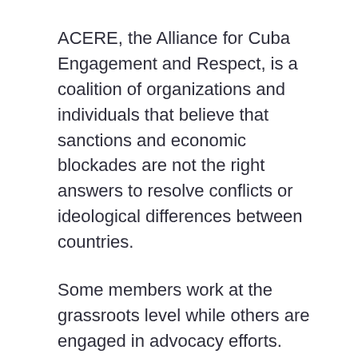ACERE, the Alliance for Cuba Engagement and Respect, is a coalition of organizations and individuals that believe that sanctions and economic blockades are not the right answers to resolve conflicts or ideological differences between countries.
Some members work at the grassroots level while others are engaged in advocacy efforts.
Some organizations work inspired by the values of their faith, while others help promote the interests of the business community or are concerned about their right to freely travel to the island.
All members of ACERE uphold the principles of